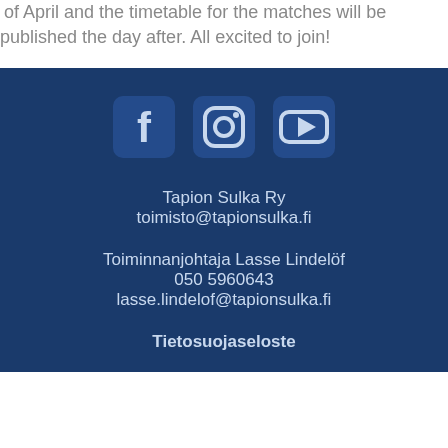of April and the timetable for the matches will be published the day after. All excited to join!
[Figure (illustration): Social media icons: Facebook, Instagram, YouTube on dark blue background]
Tapion Sulka Ry
toimisto@tapionsulka.fi
Toiminnanjohtaja Lasse Lindelöf
050 5960643
lasse.lindelof@tapionsulka.fi
Tietosuojaseloste